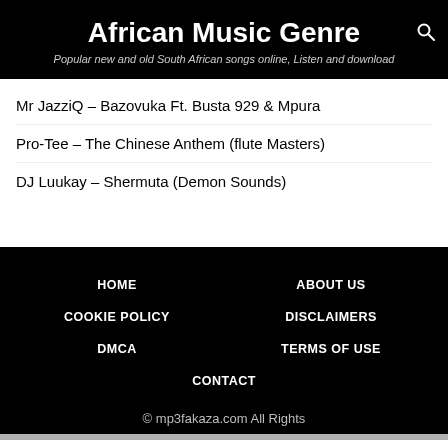African Music Genre
Popular new and old South African songs online, Listen and download
Mr JazziQ – Bazovuka Ft. Busta 929 & Mpura
Pro-Tee – The Chinese Anthem (flute Masters)
DJ Luukay – Shermuta (Demon Sounds)
HOME   COOKIE POLICY   DMCA   ABOUT US   DISCLAIMERS   TERMS OF USE   CONTACT   © mp3fakaza.com All Rights